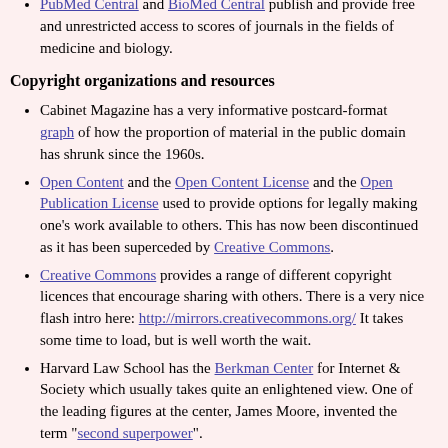PubMed Central and BioMed Central publish and provide free and unrestricted access to scores of journals in the fields of medicine and biology.
Copyright organizations and resources
Cabinet Magazine has a very informative postcard-format graph of how the proportion of material in the public domain has shrunk since the 1960s.
Open Content and the Open Content License and the Open Publication License used to provide options for legally making one's work available to others. This has now been discontinued as it has been superceded by Creative Commons.
Creative Commons provides a range of different copyright licences that encourage sharing with others. There is a very nice flash intro here: http://mirrors.creativecommons.org/ It takes some time to load, but is well worth the wait.
Harvard Law School has the Berkman Center for Internet & Society which usually takes quite an enlightened view. One of the leading figures at the center, James Moore, invented the term "second superpower".
The Chilling Effects project is a joint project of the Electronic Frontier Foundation and Harvard,